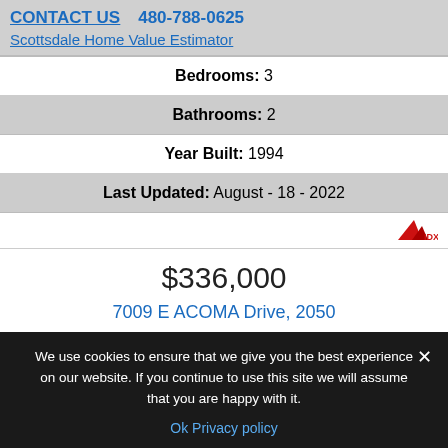CONTACT US  480-788-0625
Scottsdale Home Value Estimator
Bedrooms: 3
Bathrooms: 2
Year Built: 1994
Last Updated: August - 18 - 2022
[Figure (logo): IDX logo - small red triangle with IDX text]
$336,000
7009 E ACOMA Drive, 2050
Scottsdale, AZ 85254
We use cookies to ensure that we give you the best experience on our website. If you continue to use this site we will assume that you are happy with it.
Ok  Privacy policy